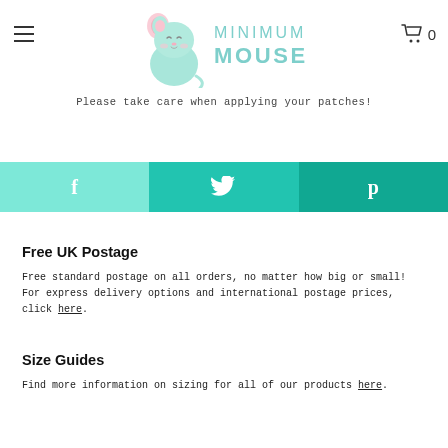Minimum Mouse — navigation header with logo, hamburger menu, and cart icon (0 items)
Please take care when applying your patches!
[Figure (other): Social share bar with three buttons: Facebook (f), Twitter (bird icon), Pinterest (p) in teal gradient colors]
Free UK Postage
Free standard postage on all orders, no matter how big or small! For express delivery options and international postage prices, click here.
Size Guides
Find more information on sizing for all of our products here.